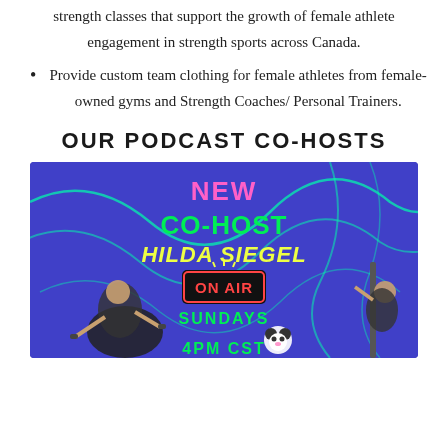strength classes that support the growth of female athlete engagement in strength sports across Canada.
Provide custom team clothing for female athletes from female-owned gyms and Strength Coaches/ Personal Trainers.
OUR PODCAST CO-HOSTS
[Figure (illustration): Promotional banner for a podcast new co-host announcement. Blue/purple background with neon green swirl lines. Text reads: NEW CO-HOST HILDA SIEGEL, ON AIR, SUNDAYS 4PM CST. Features two female athletes and a panda mascot logo.]